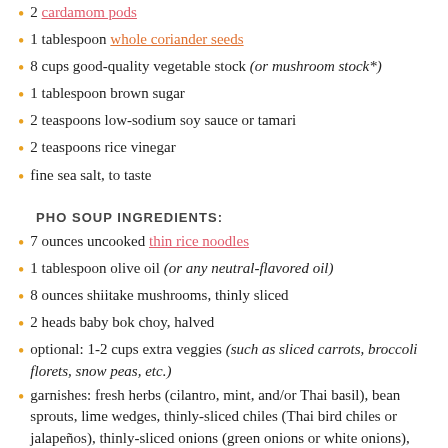2 cardamom pods
1 tablespoon whole coriander seeds
8 cups good-quality vegetable stock (or mushroom stock*)
1 tablespoon brown sugar
2 teaspoons low-sodium soy sauce or tamari
2 teaspoons rice vinegar
fine sea salt, to taste
PHO SOUP INGREDIENTS:
7 ounces uncooked thin rice noodles
1 tablespoon olive oil (or any neutral-flavored oil)
8 ounces shiitake mushrooms, thinly sliced
2 heads baby bok choy, halved
optional: 1-2 cups extra veggies (such as sliced carrots, broccoli florets, snow peas, etc.)
garnishes: fresh herbs (cilantro, mint, and/or Thai basil), bean sprouts, lime wedges, thinly-sliced chiles (Thai bird chiles or jalapeños), thinly-sliced onions (green onions or white onions), sauces (hoisin and/or sriracha)